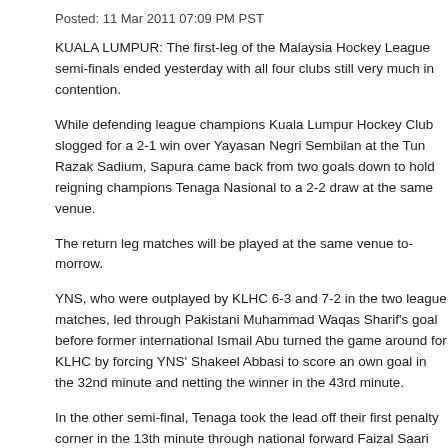Posted: 11 Mar 2011 07:09 PM PST
KUALA LUMPUR: The first-leg of the Malaysia Hockey League semi-finals ended yesterday with all four clubs still very much in contention.
While defending league champions Kuala Lumpur Hockey Club slogged for a 2-1 win over Yayasan Negri Sembilan at the Tun Razak Sadium, Sapura came back from two goals down to hold reigning champions Tenaga Nasional to a 2-2 draw at the same venue.
The return leg matches will be played at the same venue tomorrow.
YNS, who were outplayed by KLHC 6-3 and 7-2 in the two league matches, led through Pakistani Muhammad Waqas Sharif's 10th minute goal before former international Ismail Abu turned the game around for KLHC by forcing YNS' Shakeel Abbasi to score an own goal in the 32nd minute and netting the winner in the 43rd minute.
In the other semi-final, Tenaga took the lead off their first penalty corner in the 13th minute through national forward Faizal Saari and doubled the lead through Faiz Helmi in the 54th minute.
Sapura, however, hit back with two goals in three minutes. Muhammad Nasir reduced the deficit from close range in the 64th minute before Rodhanizam Mat Radzi equalised off a penalty corner rebound in the 67th minute.